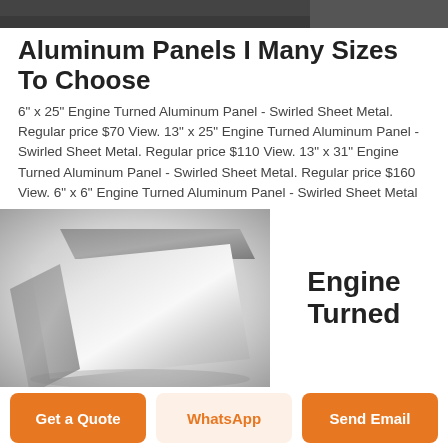[Figure (photo): Top portion of aluminum panel product photo, dark metallic surface]
Aluminum Panels I Many Sizes To Choose
6" x 25" Engine Turned Aluminum Panel - Swirled Sheet Metal. Regular price $70 View. 13" x 25" Engine Turned Aluminum Panel - Swirled Sheet Metal. Regular price $110 View. 13" x 31" Engine Turned Aluminum Panel - Swirled Sheet Metal. Regular price $160 View. 6" x 6" Engine Turned Aluminum Panel - Swirled Sheet Metal
[Figure (photo): Engine Turned aluminum panels product photo showing metallic sheets with swirled finish, with text 'Engine Turned' to the right]
Get a Quote
WhatsApp
Send Email